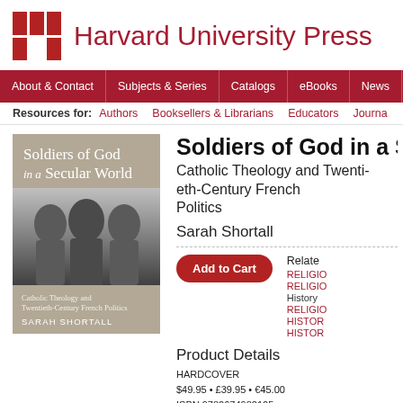[Figure (logo): Harvard University Press logo with red grid and text]
About & Contact | Subjects & Series | Catalogs | eBooks | News | Ord...
Resources for: Authors | Booksellers & Librarians | Educators | Journa...
[Figure (photo): Book cover: Soldiers of God in a Secular World by Sarah Shortall, showing three men in black and white photo]
Soldiers of God in a Secular World
Catholic Theology and Twentieth-Century French Politics
Sarah Shortall
Add to Cart
Related
RELIGIO...
RELIGIO...
History ...
RELIGIO...
HISTOR...
HISTOR...
Product Details
HARDCOVER
$49.95 • £39.95 • €45.00
ISBN 9780674980105
Publication Date: 11/23/2021